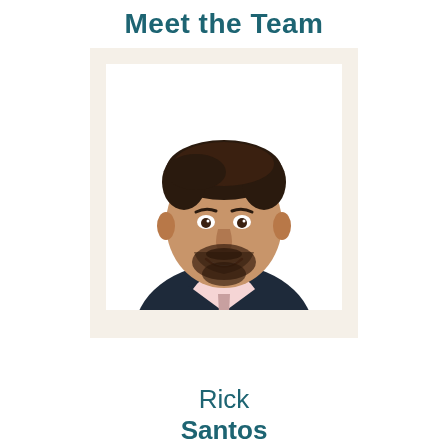Meet the Team
[Figure (photo): Professional headshot of Rick Santos, a man in a dark navy blazer and light pink shirt, smiling, with dark hair, against a white background, presented in a polaroid-style frame with cream/off-white border.]
Rick
Santos